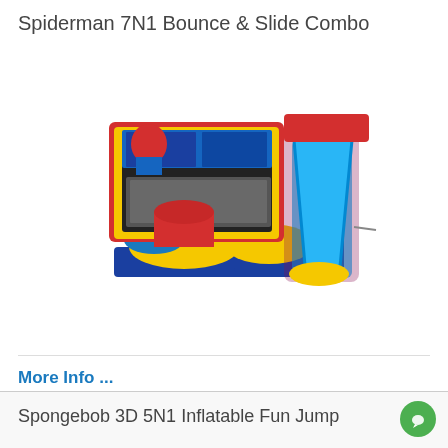Spiderman 7N1 Bounce & Slide Combo
[Figure (photo): Inflatable Spiderman 7N1 bounce and slide combo unit, featuring red, blue, and yellow colors with a Spiderman banner, bounce area, and attached slide]
More Info ...
ADD TO CART
$336.00
Spongebob 3D 5N1 Inflatable Fun Jump